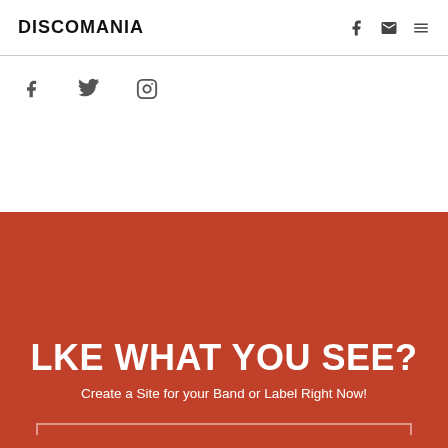DISCOMANIA
[Figure (other): Social media icons row: Facebook, Twitter, Instagram]
LKE WHAT YOU SEE?
Create a Site for your Band or Label Right Now!